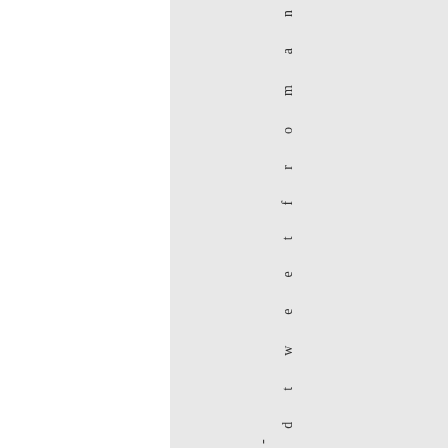t o a n o w - d e l e t e d t w e e t f r o m a n